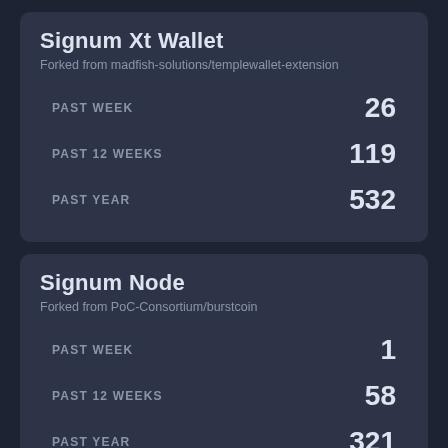Signum Xt Wallet
Forked from madfish-solutions/templewallet-extension
PAST WEEK   26
PAST 12 WEEKS   119
PAST YEAR   532
Signum Node
Forked from PoC-Consortium/burstcoin
PAST WEEK   1
PAST 12 WEEKS   58
PAST YEAR   321
Sips
Forked from PoC-Consortium/CIPs
PAST WEEK   104